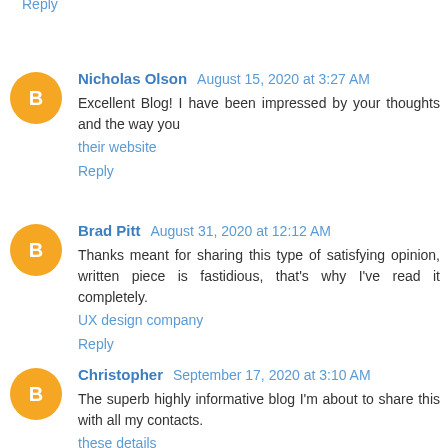Reply
Nicholas Olson  August 15, 2020 at 3:27 AM
Excellent Blog! I have been impressed by your thoughts and the way you
their website
Reply
Brad Pitt  August 31, 2020 at 12:12 AM
Thanks meant for sharing this type of satisfying opinion, written piece is fastidious, that's why I've read it completely.
UX design company
Reply
Christopher  September 17, 2020 at 3:10 AM
The superb highly informative blog I'm about to share this with all my contacts.
these details